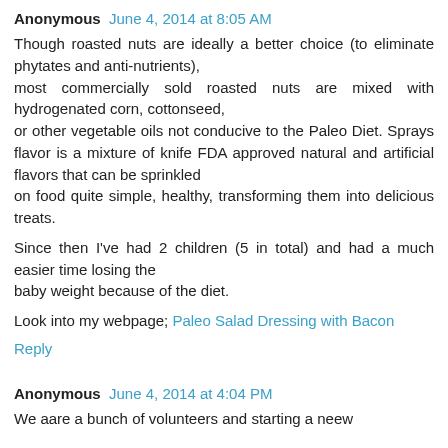Anonymous  June 4, 2014 at 8:05 AM
Though roasted nuts are ideally a better choice (to eliminate phytates and anti-nutrients),
most commercially sold roasted nuts are mixed with hydrogenated corn, cottonseed,
or other vegetable oils not conducive to the Paleo Diet. Sprays flavor is a mixture of knife FDA approved natural and artificial flavors that can be sprinkled
on food quite simple, healthy, transforming them into delicious treats.
Since then I've had 2 children (5 in total) and had a much easier time losing the
baby weight because of the diet.
Look into my webpage; Paleo Salad Dressing with Bacon
Reply
Anonymous  June 4, 2014 at 4:04 PM
We aare a bunch of volunteers and starting a neew